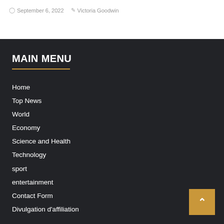September 6, 2022   Victoria Goodwin
MAIN MENU
Home
Top News
World
Economy
Science and Health
Technology
sport
entertainment
Contact Form
Divulgation d'affiliation